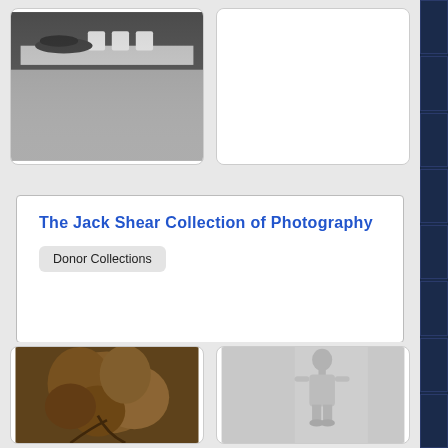[Figure (photo): Black and white photograph of hands at a table with cups, partially visible at top of page]
[Figure (photo): Blank white card on right, top row]
The Jack Shear Collection of Photography
Donor Collections
[Figure (photo): Sepia-toned photograph of roses or flowers, wilting, dramatic lighting]
[Figure (photo): Black and white photograph of a standing male nude figure]